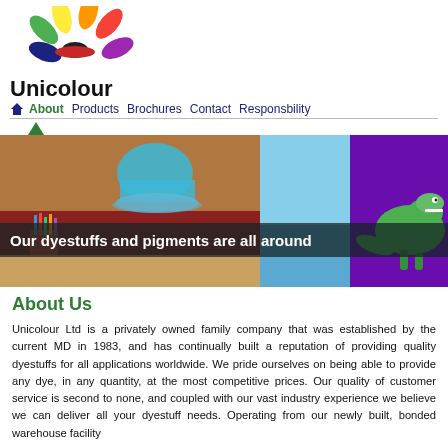[Figure (logo): Unicolour logo with colorful flower/petal design in green, yellow, orange, red, purple, blue colors above the brand name]
Unicolour
About  Products  Brochures  Contact  Responsbility
[Figure (photo): Banner image split into sections: left shows a blue coffee cup and colorful pencils/markers in a red cup on a wooden table, middle shows sky/sea, right shows a green dinosaur toy on a purple background]
Our dyestuffs and pigments are all around
About Us
Unicolour Ltd is a privately owned family company that was established by the current MD in 1983, and has continually built a reputation of providing quality dyestuffs for all applications worldwide. We pride ourselves on being able to provide any dye, in any quantity, at the most competitive prices. Our quality of customer service is second to none, and coupled with our vast industry experience we believe we can deliver all your dyestuff needs. Operating from our newly built, bonded warehouse facility